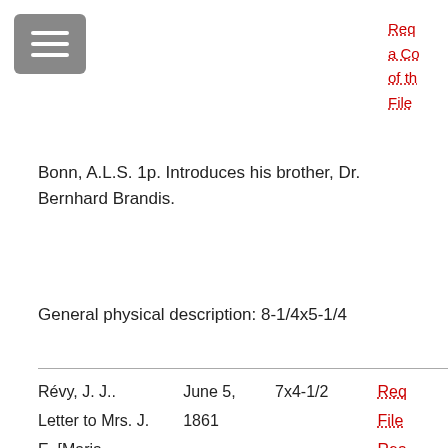[Figure (other): Hamburger menu button icon (three horizontal white lines on grey rounded rectangle background)]
Req
a Co
of th
File
Bonn, A.L.S. 1p. Introduces his brother, Dr. Bernhard Brandis.
General physical description: 8-1/4x5-1/4
|  | June 5, | 7x4-1/2 | Req |
| --- | --- | --- | --- |
| Révy, J. J.. | June 5, | 7x4-1/2 | Req |
| Letter to Mrs. J. | 1861 |  | File |
| E. [Maria |  |  | Rea |
| Emma] Gray |  |  | Roo |
|  |  |  | Acc |
|  |  |  |  |